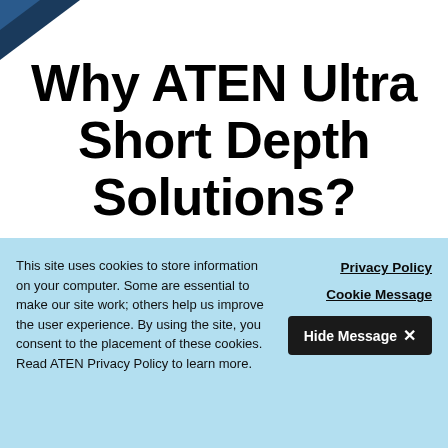[Figure (illustration): Blue angular corner decoration in the top-left corner of the page]
Why ATEN Ultra Short Depth Solutions?
The new series provides a space-optimized solution with an industry-leading design to support both dual-link and space-specific requirements designed for control environments where
This site uses cookies to store information on your computer. Some are essential to make our site work; others help us improve the user experience. By using the site, you consent to the placement of these cookies. Read ATEN Privacy Policy to learn more.
Privacy Policy
Cookie Message
Hide Message ✕